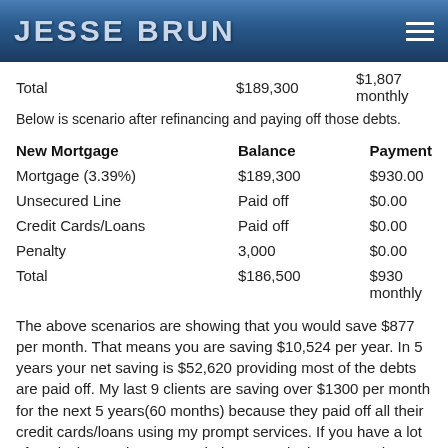JESSE BRUN
|  |  |  |
| --- | --- | --- |
| Total | $189,300 | $1,807 monthly |
Below is scenario after refinancing and paying off those debts.
| New Mortgage | Balance | Payment |
| --- | --- | --- |
| Mortgage (3.39%) | $189,300 | $930.00 |
| Unsecured Line | Paid off | $0.00 |
| Credit Cards/Loans | Paid off | $0.00 |
| Penalty | 3,000 | $0.00 |
| Total | $186,500 | $930 monthly |
The above scenarios are showing that you would save $877 per month. That means you are saving $10,524 per year. In 5 years your net saving is $52,620 providing most of the debts are paid off. My last 9 clients are saving over $1300 per month for the next 5 years(60 months) because they paid off all their credit cards/loans using my prompt services. If you have a lot of equity in your home I can help you to do the same. There's a big possibility that I can help you save a lot of your hard earned money. There's no reason for us to give away our hard earned money if we don't have to!